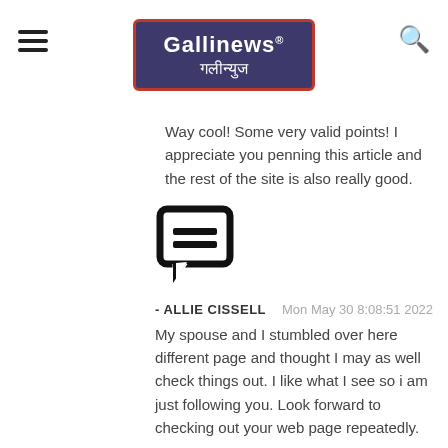[Figure (logo): Gallinews गलीन्युज logo — white text on purple/navy background with red border]
Way cool! Some very valid points! I appreciate you penning this article and the rest of the site is also really good.
[Figure (illustration): Chat bubble / comment icon — black outlined speech bubble with two horizontal lines inside]
- ALLIE CISSELL    Mon May 30 8:08:51 2022
My spouse and I stumbled over here different page and thought I may as well check things out. I like what I see so i am just following you. Look forward to checking out your web page repeatedly.
[Figure (illustration): Chat bubble / comment icon — black outlined speech bubble with two horizontal lines inside]